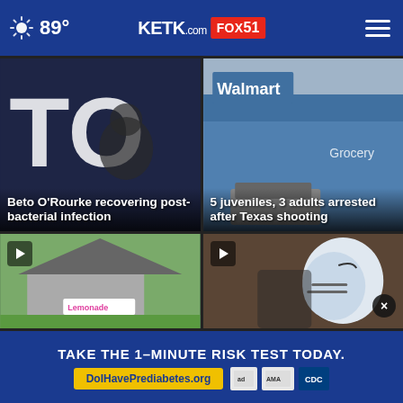89° KETK.com FOX51
[Figure (screenshot): Beto O'Rourke speaking at an event, large letters 'TO' in background]
Beto O'Rourke recovering post-bacterial infection
[Figure (screenshot): Walmart store exterior with police vehicle]
5 juveniles, 3 adults arrested after Texas shooting
[Figure (screenshot): Video thumbnail of lemonade stand house with play button]
[Figure (screenshot): Video thumbnail of football player in white helmet with play button]
TAKE THE 1-MINUTE RISK TEST TODAY.
DoIHavePrediabetes.org